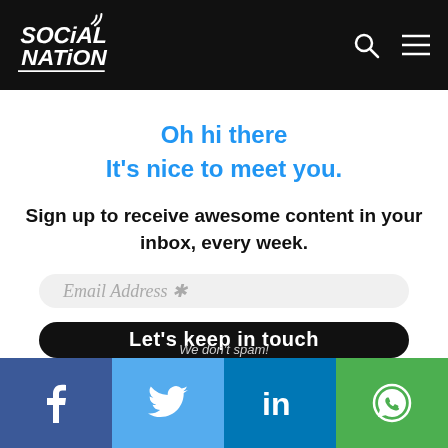Social Nation — navigation bar with logo, search icon, menu icon
Oh hi there
It's nice to meet you.
Sign up to receive awesome content in your inbox, every week.
Email Address *
Let's keep in touch
Social share bar: Facebook, Twitter, LinkedIn, WhatsApp